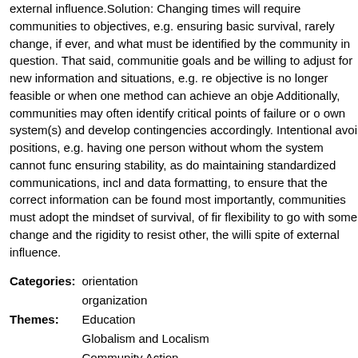external influence.Solution: Changing times will require communities to objectives, e.g. ensuring basic survival, rarely change, if ever, and what must be identified by the community in question. That said, communities goals and be willing to adjust for new information and situations, e.g. re objective is no longer feasible or when one method can achieve an obje Additionally, communities may often identify critical points of failure or o own system(s) and develop contingencies accordingly. Intentional avoid positions, e.g. having one person without whom the system cannot func ensuring stability, as do maintaining standardized communications, incl and data formatting, to ensure that the correct information can be foun most importantly, communities must adopt the mindset of survival, of fir flexibility to go with some change and the rigidity to resist other, the willi spite of external influence.
Categories: orientation
organization
Themes: Education
Globalism and Localism
Community Action
Case Studies
Verbiage for pattern card:
Determining which steps to take is just as important as actually taking t